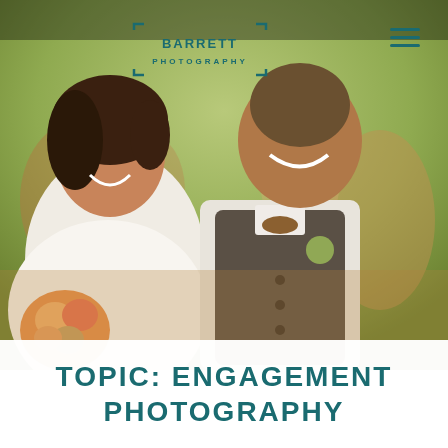[Figure (photo): Wedding photo showing a joyful bride and groom walking together after their ceremony. The bride wears a white strapless gown and holds a bouquet of orange and pink flowers; the groom wears a white shirt, grey vest, and brown bow tie with a boutonniere. Guests are visible in the background amid green foliage.]
BARRETT PHOTOGRAPHY
TOPIC: ENGAGEMENT PHOTOGRAPHY